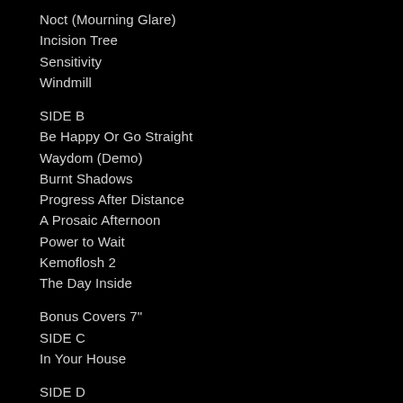Noct (Mourning Glare)
Incision Tree
Sensitivity
Windmill
SIDE B
Be Happy Or Go Straight
Waydom (Demo)
Burnt Shadows
Progress After Distance
A Prosaic Afternoon
Power to Wait
Kemoflosh 2
The Day Inside
Bonus Covers 7"
SIDE C
In Your House
SIDE D
The Holy Hour
It's Her Factory